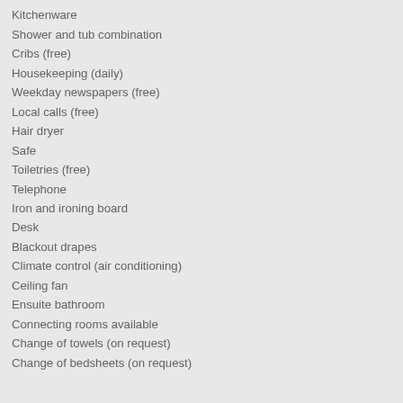Kitchenware
Shower and tub combination
Cribs (free)
Housekeeping (daily)
Weekday newspapers (free)
Local calls (free)
Hair dryer
Safe
Toiletries (free)
Telephone
Iron and ironing board
Desk
Blackout drapes
Climate control (air conditioning)
Ceiling fan
Ensuite bathroom
Connecting rooms available
Change of towels (on request)
Change of bedsheets (on request)